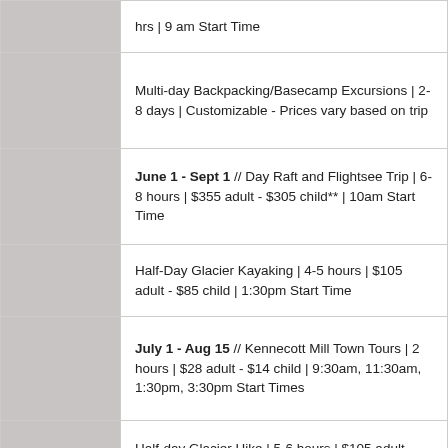|  | hrs | 9 am Start Time |
|  | Multi-day Backpacking/Basecamp Excursions | 2-8 days | Customizable - Prices vary based on trip |
|  | June 1 - Sept 1 // Day Raft and Flightsee Trip | 6-8 hours | $355 adult - $305 child** | 10am Start Time |
|  | Half-Day Glacier Kayaking | 4-5 hours | $105 adult - $85 child | 1:30pm Start Time |
|  | July 1 - Aug 15 // Kennecott Mill Town Tours | 2 hours | $28 adult - $14 child | 9:30am, 11:30am, 1:30pm, 3:30pm Start Times |
|  | Half-day Glacier Hike | 5-6 hours | $105 adult - $85 child | 9am & 1 pm Start Time |
|  |  |